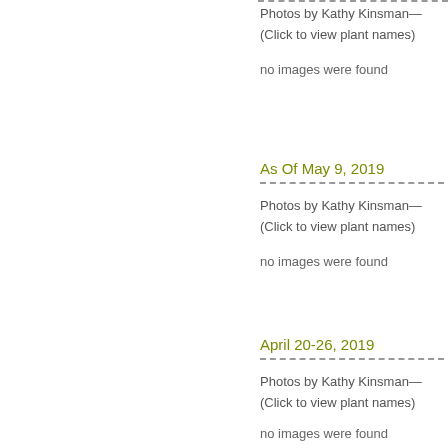Photos by Kathy Kinsman—
(Click to view plant names)
no images were found
As Of May 9, 2019
Photos by Kathy Kinsman—
(Click to view plant names)
no images were found
April 20-26, 2019
Photos by Kathy Kinsman—
(Click to view plant names)
no images were found